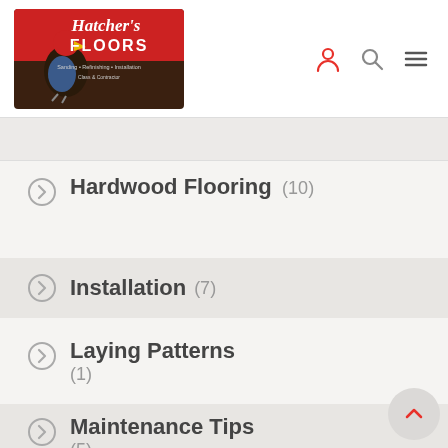Hatcher's Floors
Hardwood Flooring (10)
Installation (7)
Laying Patterns (1)
Maintenance Tips (5)
Tile Flooring (9)